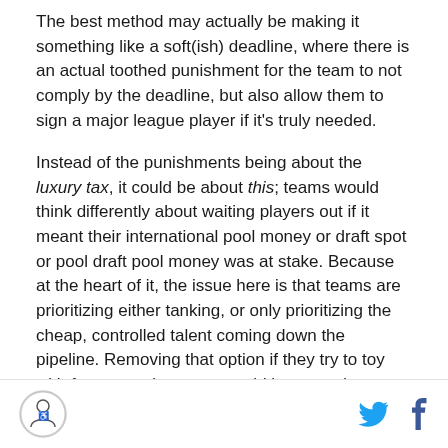The best method may actually be making it something like a soft(ish) deadline, where there is an actual toothed punishment for the team to not comply by the deadline, but also allow them to sign a major league player if it's truly needed.
Instead of the punishments being about the luxury tax, it could be about this; teams would think differently about waiting players out if it meant their international pool money or draft spot or pool draft pool money was at stake. Because at the heart of it, the issue here is that teams are prioritizing either tanking, or only prioritizing the cheap, controlled talent coming down the pipeline. Removing that option if they try to toy with free agent leverage would be a good way to eat away